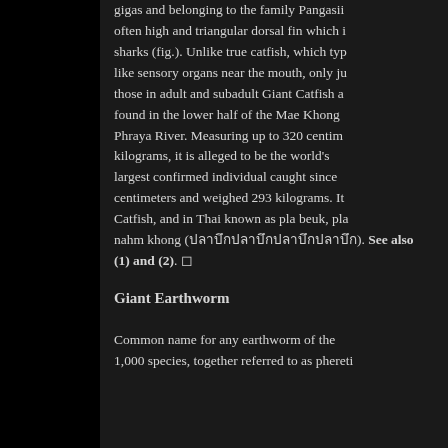gigas and belonging to the family Pangasii... often high and triangular dorsal fin which i... sharks (fig.). Unlike true catfish, which typ... like sensory organs near the mouth, only ju... those in adult and subadult Giant Catfish a... found in the lower half of the Mae Khong... Phraya River. Measuring up to 320 centim... kilograms, it is alleged to be the world's... largest confirmed individual caught since... centimeters and weighed 293 kilograms. It... Catfish, and in Thai known as pla beuk, pla... nahm khong (ปลาบึก). See also (1) and (2).
Giant Earthworm
Common name for any earthworm of the 1,000 species, together referred to as phereti...